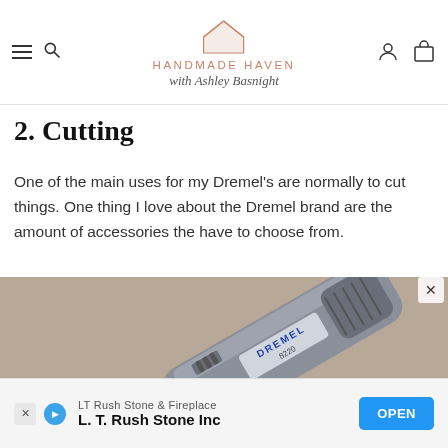HANDMADE HAVEN with Ashley Basnight
2. Cutting
One of the main uses for my Dremel's are normally to cut things. One thing I love about the Dremel brand are the amount of accessories the have to choose from.
[Figure (photo): Close-up photo of a Dremel 8220 rotary tool on a brown cardboard surface, with a cutting disc attachment and blue accessory case visible.]
LT Rush Stone & Fireplace
L. T. Rush Stone Inc
OPEN